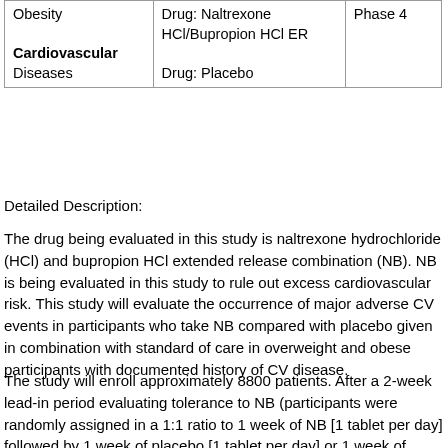| Condition | Intervention/Treatment | Phase |
| --- | --- | --- |
| Obesity
Cardiovascular Diseases | Drug: Naltrexone HCl/Bupropion HCl ER
Drug: Placebo | Phase 4 |
Detailed Description:
The drug being evaluated in this study is naltrexone hydrochloride (HCl) and bupropion HCl extended release combination (NB). NB is being evaluated in this study to rule out excess cardiovascular risk. This study will evaluate the occurrence of major adverse CV events in participants who take NB compared with placebo given in combination with standard of care in overweight and obese participants with documented history of CV disease.
The study will enroll approximately 8800 patients. After a 2-week lead-in period evaluating tolerance to NB (participants were randomly assigned in a 1:1 ratio to 1 week of NB [1 tablet per day] followed by 1 week of placebo [1 tablet per day] or 1 week of placebo followed by 1 week of NB), participants will be randomly assigned to one of two treatment groups in a 1:1 ratio, which will